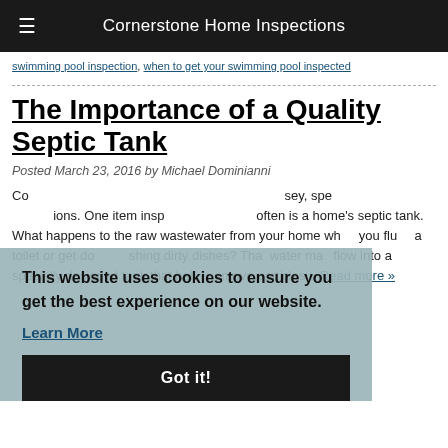Cornerstone Home Inspections
swimming pool inspection, when to get your swimming pool inspected
The Importance of a Quality Septic Tank
Posted March 23, 2016 by Michael Dominianni
Cornerstone Home Inspections serves New Jersey, specializing in home inspections. One item inspectors overlook often is a home's septic tank. What happens to the raw wastewater from your home when you flush a toilet or get done washing dirty dishes? That water may flow into a specially designed tank that helps remove particles... Read more »
This website uses cookies to ensure you get the best experience on our website.
Learn More
Got it!